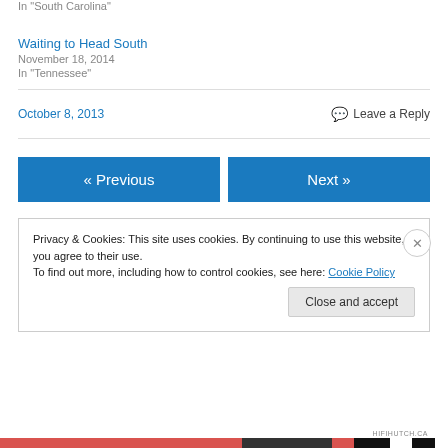In "South Carolina"
Waiting to Head South
November 18, 2014
In "Tennessee"
October 8, 2013
Leave a Reply
« Previous
Next »
Privacy & Cookies: This site uses cookies. By continuing to use this website, you agree to their use.
To find out more, including how to control cookies, see here: Cookie Policy
Close and accept